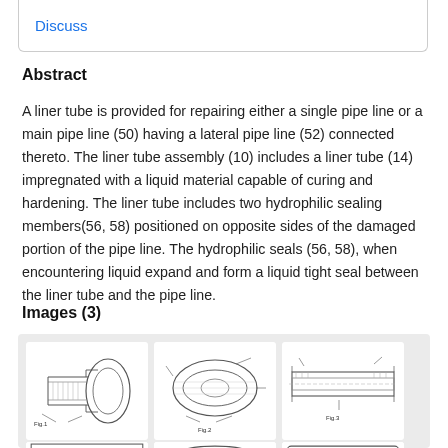Discuss
Abstract
A liner tube is provided for repairing either a single pipe line or a main pipe line (50) having a lateral pipe line (52) connected thereto. The liner tube assembly (10) includes a liner tube (14) impregnated with a liquid material capable of curing and hardening. The liner tube includes two hydrophilic sealing members(56, 58) positioned on opposite sides of the damaged portion of the pipe line. The hydrophilic seals (56, 58), when encountering liquid expand and form a liquid tight seal between the liner tube and the pipe line.
Images (3)
[Figure (engineering-diagram): Patent engineering diagrams showing cross-sections and views of a liner tube assembly for pipe repair. Six small technical drawings showing different views and components of the liner tube system.]